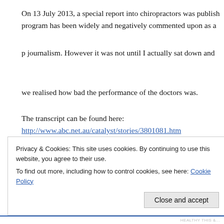On 13 July 2013, a special report into chiropractors was published. The program has been widely and negatively commented upon as a piece of journalism. However it was not until I actually sat down and watched it I realised how bad the performance of the doctors was.
The transcript can be found here:
http://www.abc.net.au/catalyst/stories/3801081.htm
Upon my review I have concluded that 5 of the 6 doctors were in "Good Practice" and should face investigation by AHPRA the Australia...
https://www.medicalboard.gov.au/Codes-Guidelines-Policies/Co...
The most obvious breaches are in section 4.2
Privacy & Cookies: This site uses cookies. By continuing to use this website, you agree to their use.
To find out more, including how to control cookies, see here: Cookie Policy